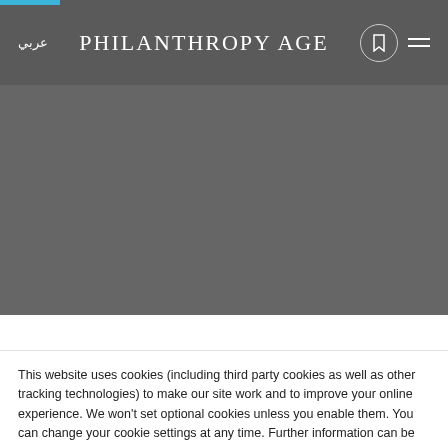عربي | PHILANTHROPY AGE
[Figure (photo): Gray placeholder image area below the navigation header]
This website uses cookies (including third party cookies as well as other tracking technologies) to make our site work and to improve your online experience. We won't set optional cookies unless you enable them. You can change your cookie settings at any time. Further information can be found in our cookie policy and terms of use.
Accept